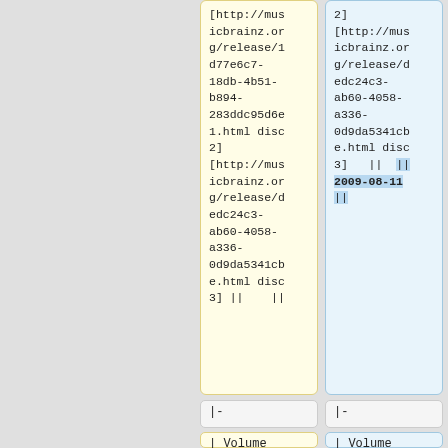[http://musicbrainz.org/release/1d77e6c7-18db-4b51-b894-283ddc95d6e1.html disc 2]
[http://musicbrainz.org/release/dedc24c3-ab60-4058-a336-0d9da5341cbe.html disc 3] ||    ||
2]
[http://musicbrainz.org/release/dedc24c3-ab60-4058-a336-0d9da5341cbe.html disc 3]   ||  || 2009-08-11 ||
|-
|-
| Volume
| Volume